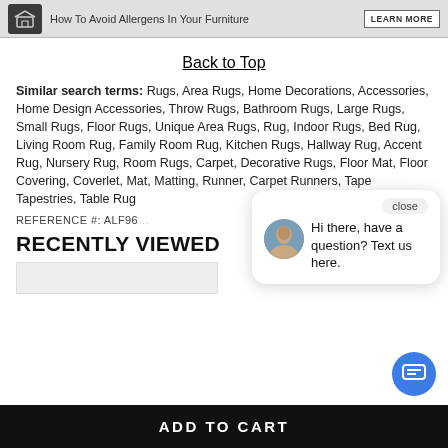[Figure (other): Top banner with box icon, text 'How To Avoid Allergens In Your Furniture', and a 'LEARN MORE' button]
Back to Top
Similar search terms: Rugs, Area Rugs, Home Decorations, Accessories, Home Design Accessories, Throw Rugs, Bathroom Rugs, Large Rugs, Small Rugs, Floor Rugs, Unique Area Rugs, Rug, Indoor Rugs, Bed Rug, Living Room Rug, Family Room Rug, Kitchen Rugs, Hallway Rug, Accent Rug, Nursery Rug, Room Rugs, Carpet, Decorative Rugs, Floor Mat, Floor Covering, Coverlet, Mat, Matting, Runner, Carpet Runners, Tapestries, Table Rug
REFERENCE #: ALF96...
close
Hi there, have a question? Text us here.
RECENTLY VIEWED
ADD TO CART